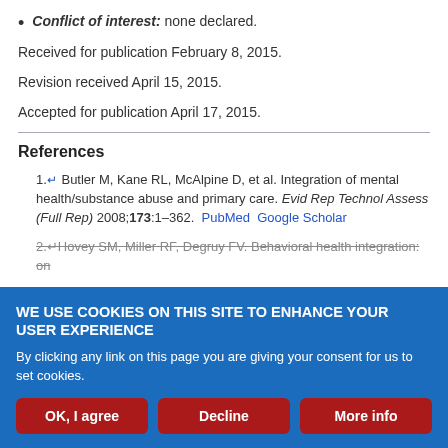Conflict of interest: none declared.
Received for publication February 8, 2015.
Revision received April 15, 2015.
Accepted for publication April 17, 2015.
References
1. Butler M, Kane RL, McAlpine D, et al. Integration of mental health/substance abuse and primary care. Evid Rep Technol Assess (Full Rep) 2008;173:1–362. PubMed Google Scholar
2. Hovey SM, Miller RF, Degruy FV. Behavioral health integration: an...
WE USE COOKIES ON THIS SITE TO ENHANCE YOUR USER EXPERIENCE
By clicking any link on this page you are giving your consent for us to set cookies.
OK, I agree | Decline | More info